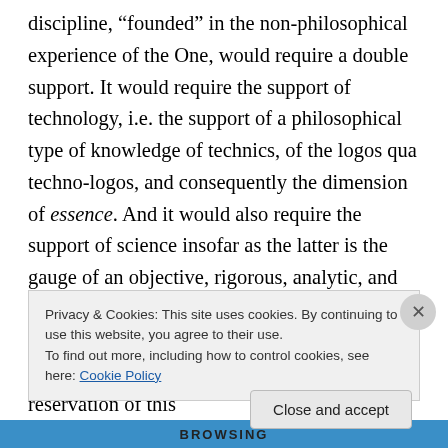discipline, "founded" in the non-philosophical experience of the One, would require a double support. It would require the support of technology, i.e. the support of a philosophical type of knowledge of technics, of the logos qua techno-logos, and consequently the dimension of essence. And it would also require the support of science insofar as the latter is the gauge of an objective, rigorous, analytic, and non-interpretative treatment of technical objects and properties, a treatment which we will in fact call "technics," but only with the reservation of this
Privacy & Cookies: This site uses cookies. By continuing to use this website, you agree to their use.
To find out more, including how to control cookies, see here: Cookie Policy
Close and accept